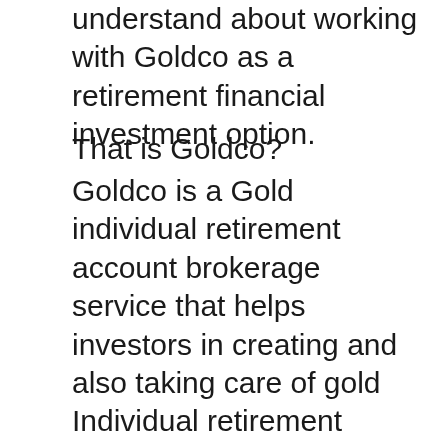understand about working with Goldco as a retirement financial investment option.
That is Goldco?
Goldco is a Gold individual retirement account brokerage service that helps investors in creating and also taking care of gold Individual retirement accounts as well as can assist surrender existing IRAs to gold or rare-earth element individual retirement accounts. When you ultimately intend to offer your gold holdings, the company will certainly aid you with this by purchasing your rare-earth elements from you or selling them in your place in the steel market.
Based in Woodland Hills in California, Goldco Rare-earth elements was begun in 2006 as a